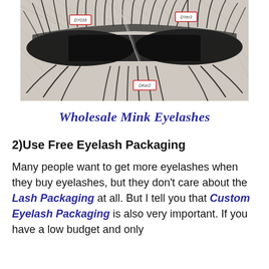[Figure (photo): Wholesale mink eyelashes displayed on a light fluffy background with label tags reading DY016, DY013, and DKer2]
Wholesale Mink Eyelashes
2)Use Free Eyelash Packaging
Many people want to get more eyelashes when they buy eyelashes, but they don't care about the Lash Packaging at all. But I tell you that Custom Eyelash Packaging is also very important. If you have a low budget and only